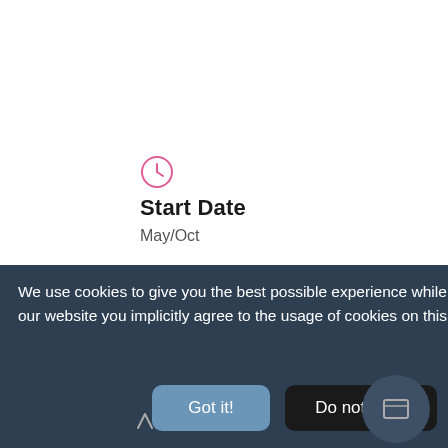[Figure (illustration): Pink clock icon]
Start Date
May/Oct
[Figure (illustration): Briefcase icon (partially visible behind cookie banner)]
Delivery (partially obscured by cookie banner)
We use cookies to give you the best possible experience while you browse through our website. By pursuing the use of our website you implicitly agree to the usage of cookies on this site.  Learn More
Got it!
Do not track